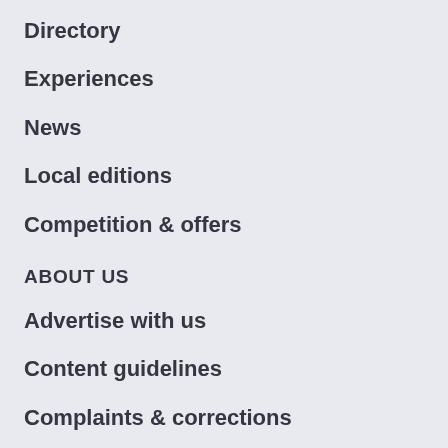Directory
Experiences
News
Local editions
Competition & offers
ABOUT US
Advertise with us
Content guidelines
Complaints & corrections
Contact us
Support us / Donate
Work with us [external link]